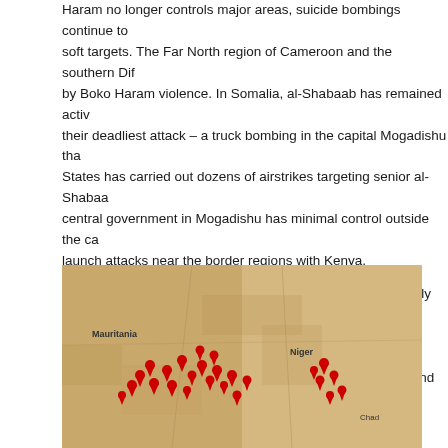Haram no longer controls major areas, suicide bombings continue to target soft targets. The Far North region of Cameroon and the southern Diffa by Boko Haram violence. In Somalia, al-Shabaab has remained active their deadliest attack – a truck bombing in the capital Mogadishu that States has carried out dozens of airstrikes targeting senior al-Shabaab central government in Mogadishu has minimal control outside the capital launch attacks near the border regions with Kenya.
In West Africa, the continued situation in Mali has increasingly impacted has spilled as terror groups launch attacks in Ivory Coast, Burkina Faso incidents of terrorism were reported in Burkina Faso, Mali, and Niger. In 2016, this figure decreased slightly to 70 incidents, yet regional terror capabilities by launching a major attack in Grand Bassam Ivory Coast. number of terrorist incidents has nearly doubled from 2016, with at least December. Furthermore, the northern Sahel region in Burkina Faso has activity this year, as terrorist groups operating in the area increasingly
[Figure (map): Map of West Africa/Sahel region showing multiple red location pin markers indicating terrorist incident locations across Mali, Burkina Faso, Niger, and surrounding countries. The map appears to be a satellite/terrain style map showing arid landscape.]